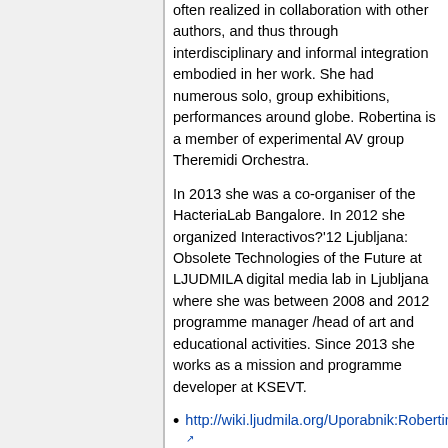often realized in collaboration with other authors, and thus through interdisciplinary and informal integration embodied in her work. She had numerous solo, group exhibitions, performances around globe. Robertina is a member of experimental AV group Theremidi Orchestra.
In 2013 she was a co-organiser of the HacteriaLab Bangalore. In 2012 she organized Interactivos?'12 Ljubljana: Obsolete Technologies of the Future at LJUDMILA digital media lab in Ljubljana where she was between 2008 and 2012 programme manager /head of art and educational activities. Since 2013 she works as a mission and programme developer at KSEVT.
http://wiki.ljudmila.org/Uporabnik:Robertina